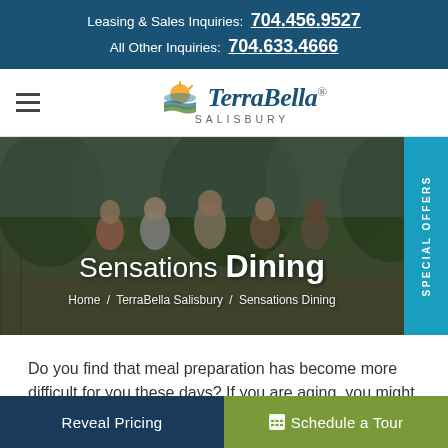Leasing & Sales Inquiries: 704.456.9527
All Other Inquiries: 704.633.4666
[Figure (logo): TerraBella Salisbury logo with sun and water graphic and cursive wordmark]
[Figure (photo): Group of senior adults walking outdoors on a bridge or path surrounded by trees, hero banner image for Sensations Dining page]
Sensations Dining
Home / TerraBella Salisbury / Sensations Dining
Do you find that meal preparation has become more difficult for you these days? If you are aging, you might find it harder
Reveal Pricing | Schedule a Tour